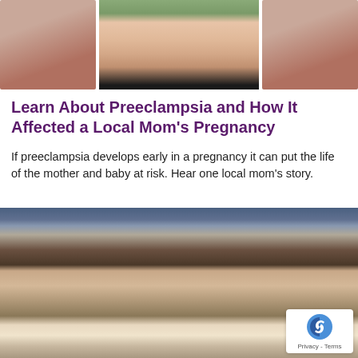[Figure (photo): Three cropped photos of people side by side at the top of the page]
Learn About Preeclampsia and How It Affected a Local Mom’s Pregnancy
If preeclampsia develops early in a pregnancy it can put the life of the mother and baby at risk. Hear one local mom’s story.
[Figure (photo): A woman in a hospital bed smiling and holding a newborn baby, with another child visible to the right. A medical device is visible in the background. A reCAPTCHA privacy badge is visible in the bottom right corner.]